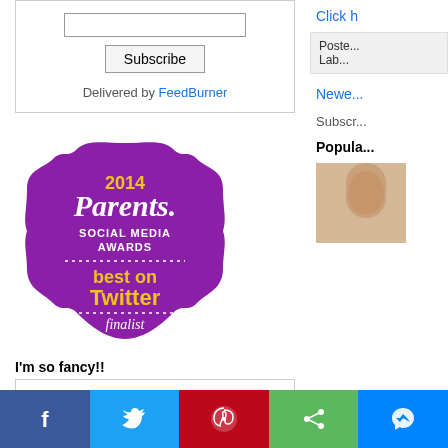Delivered by FeedBurner
[Figure (logo): 2014 Parents Social Media Awards - best on Twitter - finalist badge, purple ornate shape]
I'm so fancy!!
[Figure (other): Dotted arc/circle decorative element preview]
Click h...
Poste... Lab...
Newe...
Subscr...
Popula...
[Figure (photo): Thumbnail photo - partial view of person]
[Figure (other): Social share bar with Facebook, Twitter, Pinterest, Share, Messenger buttons]